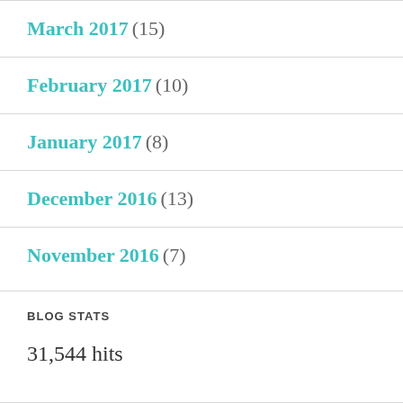March 2017 (15)
February 2017 (10)
January 2017 (8)
December 2016 (13)
November 2016 (7)
BLOG STATS
31,544 hits